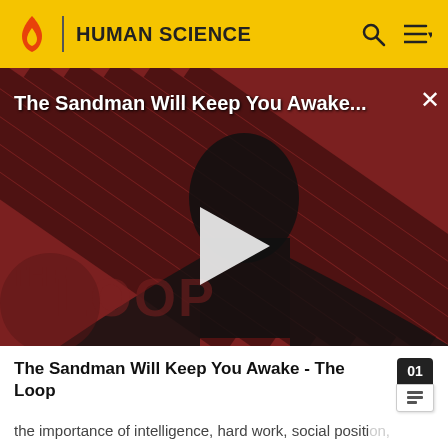HUMAN SCIENCE
[Figure (screenshot): Video thumbnail for 'The Sandman Will Keep You Awake' - The Loop, showing a dark figure in black cape against a red and black diagonal striped background with 'THE LOOP' watermark text. A white play button triangle is centered on the image. A white X close button is in the top right corner.]
The Sandman Will Keep You Awake - The Loop
the importance of intelligence, hard work, social position, skill, organization, and other forms of strength and power to create wealth. There are, however, a few hidden strategies to elicit an immediate response from life